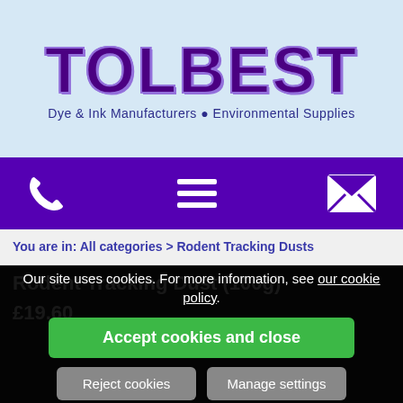[Figure (logo): TOLBEST logo in large purple bold text with outline effect]
Dye & Ink Manufacturers • Environmental Supplies
[Figure (infographic): Purple navigation bar with phone icon, hamburger menu icon, and envelope/email icon]
You are in: All categories > Rodent Tracking Dusts
Rodent Tracking Dust (100g)
£19.60
Our site uses cookies. For more information, see our cookie policy.
Accept cookies and close
Reject cookies
Manage settings